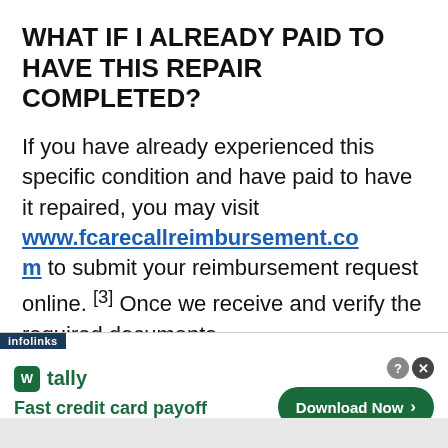WHAT IF I ALREADY PAID TO HAVE THIS REPAIR COMPLETED?
If you have already experienced this specific condition and have paid to have it repaired, you may visit www.fcarecallreimbursement.com to submit your reimbursement request online. [3] Once we receive and verify the required documents,
[Figure (screenshot): Advertisement banner: infolinks label at top-left, Tally app ad with green logo, text 'Fast credit card payoff', and a green 'Download Now' button on the right with close/help icons.]